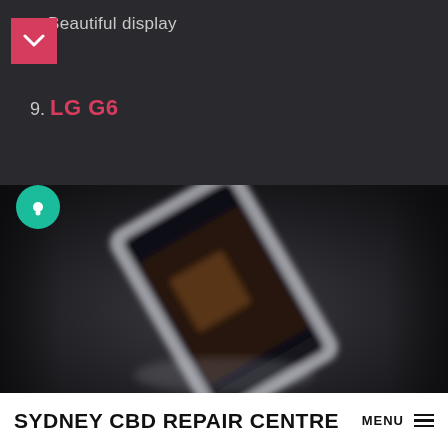Beautiful display
9. LG G6
[Figure (photo): A blurry close-up photo of a smartphone (LG G6) lying on a dark surface, shot from above at an angle, showing the screen and back of the device.]
SYDNEY CBD REPAIR CENTRE MENU ≡